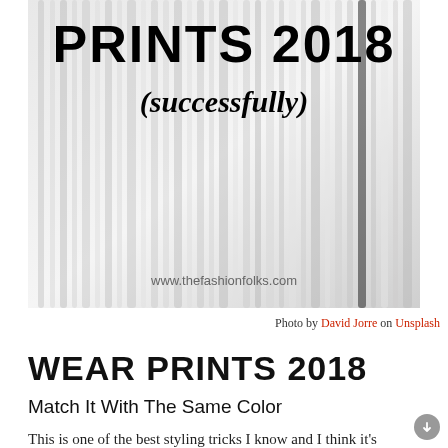[Figure (photo): White abstract rippled surface with overlaid bold text 'PRINTS 2018 (successfully)' and watermark 'www.thefashionfolks.com']
Photo by David Jorre on Unsplash
WEAR PRINTS 2018
Match It With The Same Color
This is one of the best styling tricks I know and I think it's